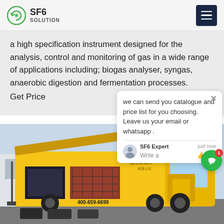SF6 SOLUTION
a high specification instrument designed for the analysis, control and monitoring of gas in a wide range of applications including; biogas analyser, syngas, anaerobic digestion and fermentation processes.
Get Price
[Figure (photo): A yellow service truck (ISUZU) with an open side panel revealing equipment inside, phone number 400-659-6699, with equipment cases on the ground in front.]
we can send you catalogue and price list for you choosing. Leave us your email or whatsapp .
SF6 Expert   just now
Write a